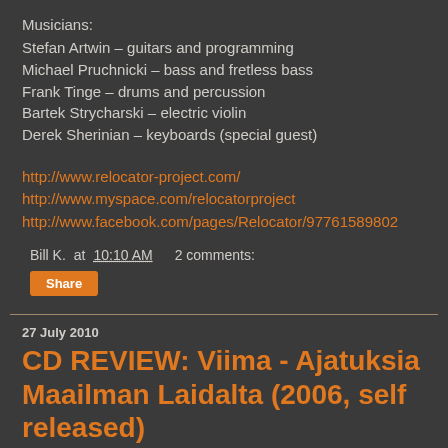Musicians:
Stefan Artwin – guitars and programming
Michael Pruchnicki – bass and fretless bass
Frank Tinge – drums and percussion
Bartek Strycharski – electric violin
Derek Sherinian – keyboards (special guest)
http://www.relocator-project.com/
http://www.myspace.com/relocatorproject
http://www.facebook.com/pages/Relocator/97761589802
Bill K. at 10:10 AM   2 comments:
Share
27 July 2010
CD REVIEW: Viima - Ajatuksia Maailman Laidalta (2006, self released)